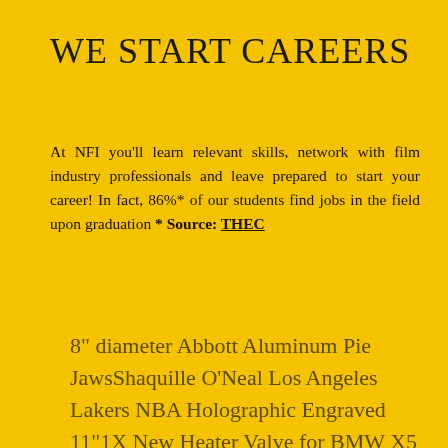WE START CAREERS
At NFI you'll learn relevant skills, network with film industry professionals and leave prepared to start your career! In fact, 86%* of our students find jobs in the field upon graduation * Source: THEC
8" diameter Abbott Aluminum Pie JawsShaquille O'Neal Los Angeles Lakers NBA Holographic Engraved 11"1X New Heater Valve for BMW X5 X6 Series L6 3.0i V8 4.4i E53 E7017-Count Lot of HeyDay Phone Charger Cables - Mixed Lot - Good FNOS Browning AP Griptwist